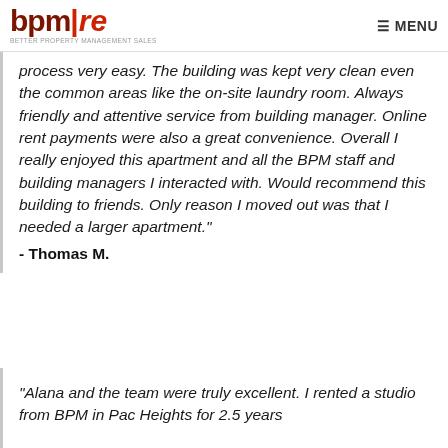bpm|re MENU
"I rented a BPM Studio apartment in Laurel for 1 year. They made the application process very easy. The building was kept very clean even the common areas like the on-site laundry room. Always friendly and attentive service from building manager. Online rent payments were also a great convenience. Overall I really enjoyed this apartment and all the BPM staff and building managers I interacted with. Would recommend this building to friends. Only reason I moved out was that I needed a larger apartment."
- Thomas M.
"Alana and the team were truly excellent. I rented a studio from BPM in Pac Heights for 2.5 years